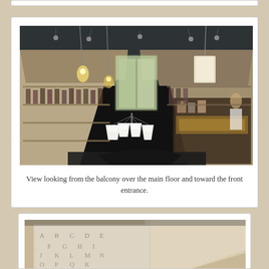[Figure (photo): View from balcony looking down over the main floor of a retail store toward the front entrance. Pendant lights hang from the ceiling, merchandise is displayed on shelves along the walls, and a chandelier with white shades is visible in the foreground. The front entrance door is visible in the background.]
View looking from the balcony over the main floor and toward the front entrance.
[Figure (photo): Partial view of a decorative sign or artwork with letters resembling an alphabet chart, partially visible at the bottom of the page.]